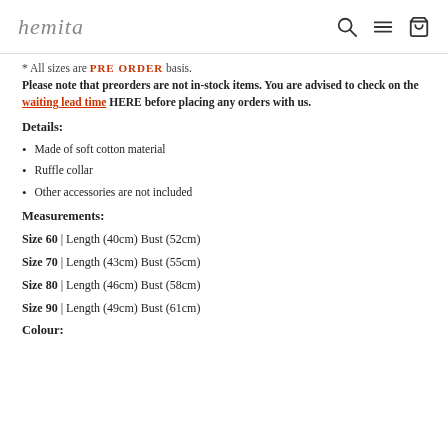hemita [nav icons: search, menu, bag]
* All sizes are PRE ORDER basis.
Please note that preorders are not in-stock items. You are advised to check on the waiting lead time HERE before placing any orders with us.
Details:
Made of soft cotton material
Ruffle collar
Other accessories are not included
Measurements:
Size 60 | Length (40cm) Bust (52cm)
Size 70 | Length (43cm) Bust (55cm)
Size 80 | Length (46cm) Bust (58cm)
Size 90 | Length (49cm) Bust (61cm)
Colour: